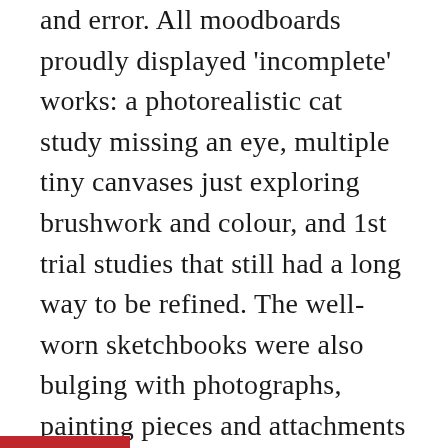and error. All moodboards proudly displayed 'incomplete' works: a photorealistic cat study missing an eye, multiple tiny canvases just exploring brushwork and colour, and 1st trial studies that still had a long way to be refined. The well-worn sketchbooks were also bulging with photographs, painting pieces and attachments that students had stuffed inside, their pages filled not just with visuals but also paragraphs of words detailing thoughts and research. To us, the first thing that the art show showed us was that merely looking perfect and pretty is a gross misunderstanding of art as a discipline. And this is perhaps clue one to understanding why art students seem